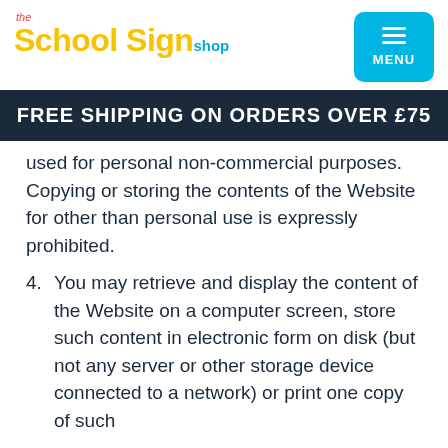the School Sign shop | MENU
FREE SHIPPING ON ORDERS OVER £75
used for personal non-commercial purposes. Copying or storing the contents of the Website for other than personal use is expressly prohibited.
4. You may retrieve and display the content of the Website on a computer screen, store such content in electronic form on disk (but not any server or other storage device connected to a network) or print one copy of such